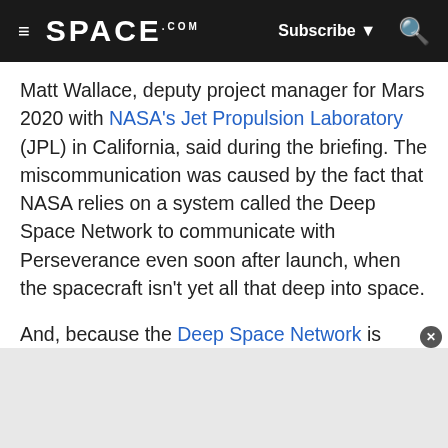SPACE.com — Subscribe — Search
Matt Wallace, deputy project manager for Mars 2020 with NASA's Jet Propulsion Laboratory (JPL) in California, said during the briefing. The miscommunication was caused by the fact that NASA relies on a system called the Deep Space Network to communicate with Perseverance even soon after launch, when the spacecraft isn't yet all that deep into space.
And, because the Deep Space Network is made up of massive antennas equipped with super sensitive receivers, the signal from a spacecraft so close to the